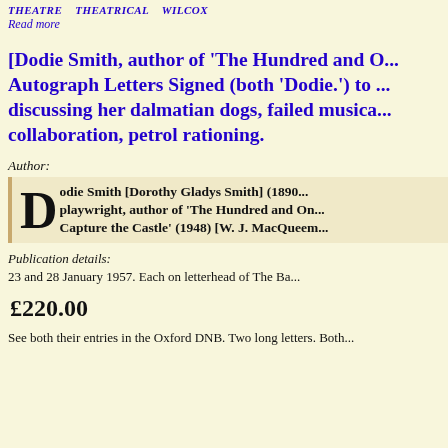THEATRE   THEATRICAL   WILCOX
Read more
[Dodie Smith, author of 'The Hundred and O... Autograph Letters Signed (both 'Dodie.') to ... discussing her dalmatian dogs, failed musica... collaboration, petrol rationing.
Author:
Dodie Smith [Dorothy Gladys Smith] (1890... playwright, author of 'The Hundred and On... Capture the Castle' (1948) [W. J. MacQueem...
Publication details:
23 and 28 January 1957. Each on letterhead of The Ba...
£220.00
See both their entries in the Oxford DNB. Two long letters. Both...